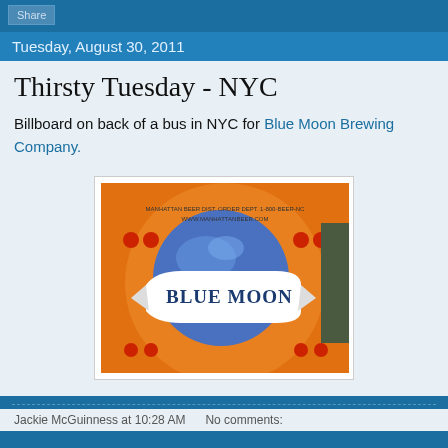Share
Tuesday, August 30, 2011
Thirsty Tuesday - NYC
Billboard on back of a bus in NYC for Blue Moon Brewing Company.
[Figure (photo): Photo of Blue Moon Brewing Company billboard painted on the back of a bus in NYC. Orange background with a large blue moon graphic and 'BLUE MOON' text on a banner. Text at top reads 'MANHATTAN BEER DIST. ORDER DEPT. 1-800-BEER-NC WWW.MANHATTANBEER.COM']
Jackie McGuinness at 10:28 AM     No comments: